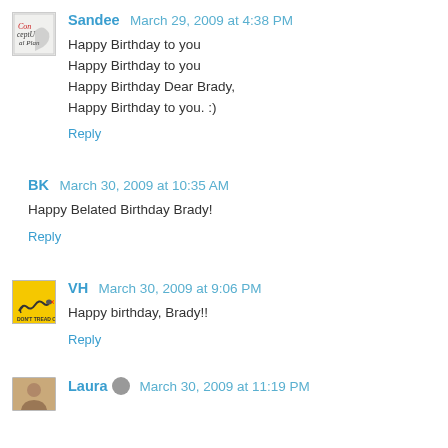[Figure (other): Avatar image for user Sandee - stylized logo with text]
Sandee  March 29, 2009 at 4:38 PM
Happy Birthday to you
Happy Birthday to you
Happy Birthday Dear Brady,
Happy Birthday to you. :)
Reply
BK  March 30, 2009 at 10:35 AM
Happy Belated Birthday Brady!
Reply
[Figure (other): Avatar image for user VH - Gadsden flag (Don't Tread on Me) with rattlesnake on yellow background]
VH  March 30, 2009 at 9:06 PM
Happy birthday, Brady!!
Reply
[Figure (photo): Partial avatar image for user Laura]
Laura  March 30, 2009 at 11:19 PM (partial, cut off)